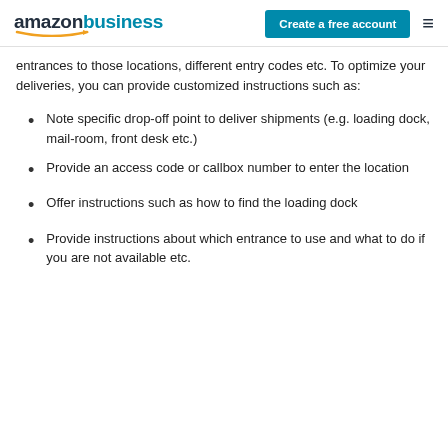amazon business | Create a free account
entrances to those locations, different entry codes etc. To optimize your deliveries, you can provide customized instructions such as:
Note specific drop-off point to deliver shipments (e.g. loading dock, mail-room, front desk etc.)
Provide an access code or callbox number to enter the location
Offer instructions such as how to find the loading dock
Provide instructions about which entrance to use and what to do if you are not available etc.